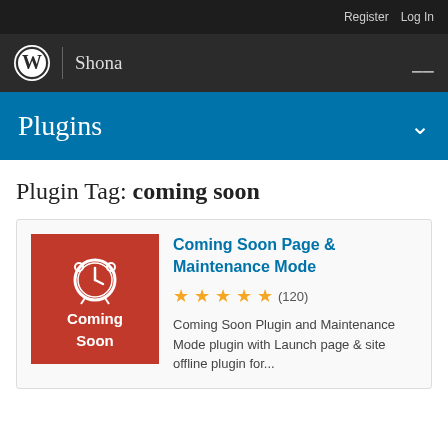Register   Log In
WordPress logo | Shona   ☰
Plugins
Plugin Tag: coming soon
[Figure (screenshot): Coming Soon plugin thumbnail: red background with alarm clock icon and text 'Coming Soon']
Coming Soon Page & Maintenance Mode
★★★★★ (120)
Coming Soon Plugin and Maintenance Mode plugin with Launch page & site offline plugin for...